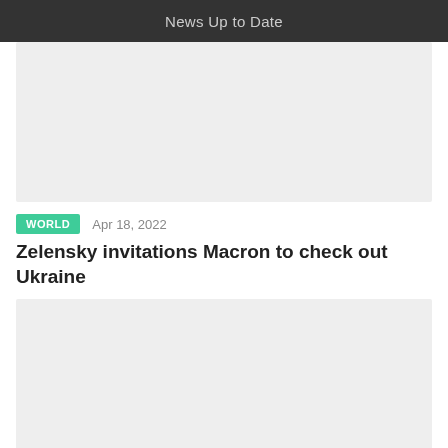News Up to Date
[Figure (photo): Placeholder image area (light gray rectangle)]
WORLD   Apr 18, 2022
Zelensky invitations Macron to check out Ukraine
[Figure (photo): Placeholder image area (light gray rectangle)]